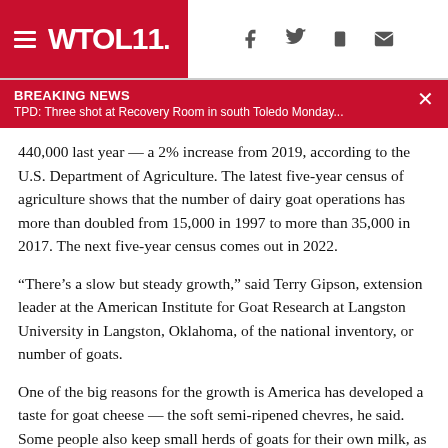WTOL 11
BREAKING NEWS
TPD: Three shot at Recovery Room in south Toledo Monday...
440,000 last year — a 2% increase from 2019, according to the U.S. Department of Agriculture. The latest five-year census of agriculture shows that the number of dairy goat operations has more than doubled from 15,000 in 1997 to more than 35,000 in 2017. The next five-year census comes out in 2022.
“There’s a slow but steady growth,” said Terry Gipson, extension leader at the American Institute for Goat Research at Langston University in Langston, Oklahoma, of the national inventory, or number of goats.
One of the big reasons for the growth is America has developed a taste for goat cheese — the soft semi-ripened chevres, he said. Some people also keep small herds of goats for their own milk, as pets and to show.